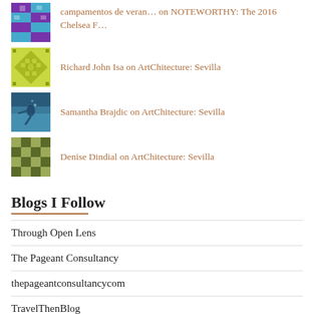campamentos de veran… on NOTEWORTHY: The 2016 Chelsea F…
Richard John Isa on ArtChitecture: Sevilla
Samantha Brajdic on ArtChitecture: Sevilla
Denise Dindial on ArtChitecture: Sevilla
Blogs I Follow
Through Open Lens
The Pageant Consultancy
thepageantconsultancycom
TravelThenBlog